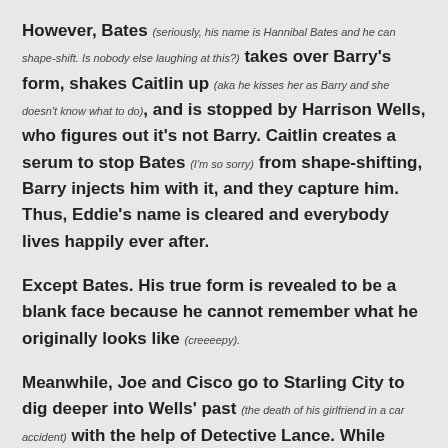However, Bates (seriously, his name is Hannibal Bates and he can shape-shift. Is nobody else laughing at this?) takes over Barry's form, shakes Caitlin up (aka he kisses her as Barry and she doesn't know what to do), and is stopped by Harrison Wells, who figures out it's not Barry. Caitlin creates a serum to stop Bates (I'm so sorry) from shape-shifting, Barry injects him with it, and they capture him. Thus, Eddie's name is cleared and everybody lives happily ever after.
Except Bates. His true form is revealed to be a blank face because he cannot remember what he originally looks like (creeeepy).
Meanwhile, Joe and Cisco go to Starling City to dig deeper into Wells' past (the death of his girlfriend in a car accident) with the help of Detective Lance. While there, Laurel (aka Black Canary) enlists Cisco to help her create a pretty cool scream shatter device